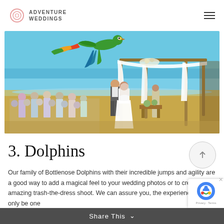ADVENTURE WEDDINGS
[Figure (photo): Beach wedding ceremony photo: bride and groom standing under a white draped canopy/chuppah on a sandy beach with turquoise ocean in background. Guests seated to the left. A large green parrot/macaw flying overhead. Officiant visible to the right at a wooden table.]
3. Dolphins
Our family of Bottlenose Dolphins with their incredible jumps and agility are a good way to add a magical feel to your wedding photos or to create an amazing trash-the-dress shoot. We can assure you, the experience will not only be one